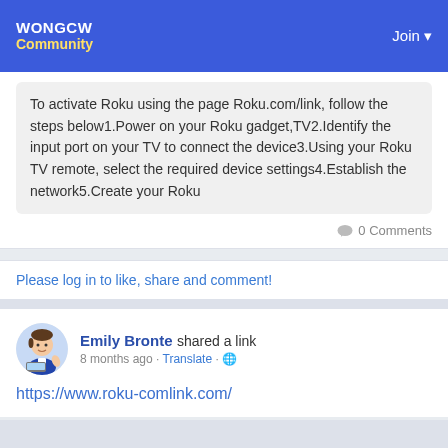WONGCW Community | Join
To activate Roku using the page Roku.com/link, follow the steps below1.Power on your Roku gadget,TV2.Identify the input port on your TV to connect the device3.Using your Roku TV remote, select the required device settings4.Establish the network5.Create your Roku
0 Comments
Please log in to like, share and comment!
Emily Bronte shared a link
8 months ago · Translate · 🌐
https://www.roku-comlink.com/